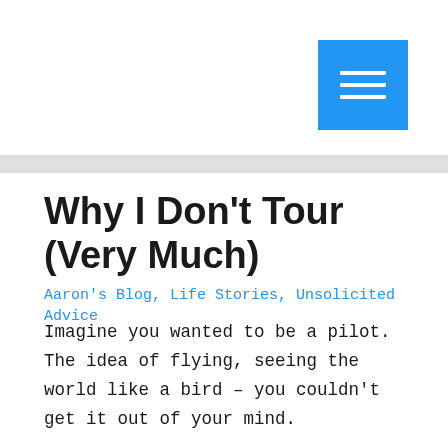[Figure (other): Blue hamburger menu button with three white horizontal lines]
Why I Don't Tour (Very Much)
Aaron's Blog, Life Stories, Unsolicited Advice
Imagine you wanted to be a pilot. The idea of flying, seeing the world like a bird – you couldn't get it out of your mind.